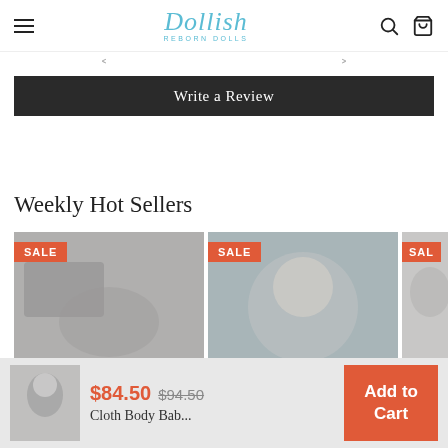Dollish • Navigation header with hamburger menu, logo, search and cart icons
← →
Write a Review
Weekly Hot Sellers
[Figure (photo): Three product images with SALE badges showing reborn baby dolls]
$84.50  $94.50  Cloth Body Bab... Add to Cart